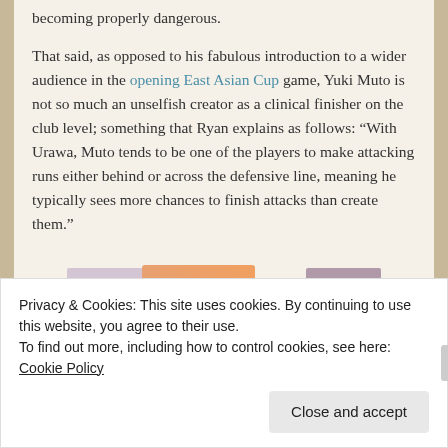becoming properly dangerous.

That said, as opposed to his fabulous introduction to a wider audience in the opening East Asian Cup game, Yuki Muto is not so much an unselfish creator as a clinical finisher on the club level; something that Ryan explains as follows: “With Urawa, Muto tends to be one of the players to make attacking runs either behind or across the defensive line, meaning he typically sees more chances to finish attacks than create them.”
[Figure (other): Advertisement banner with overlapping colored horizontal bars: lavender, orange gradient, and mauve. 'REPORT THIS AD' label in small text at bottom right.]
Privacy & Cookies: This site uses cookies. By continuing to use this website, you agree to their use.
To find out more, including how to control cookies, see here: Cookie Policy